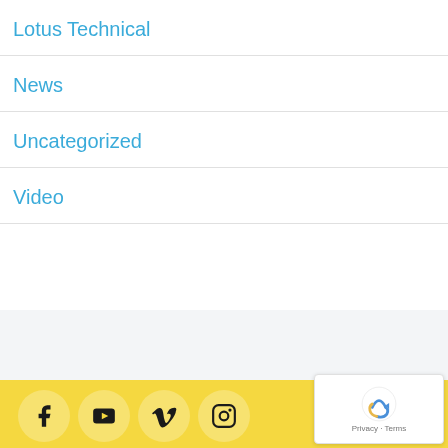Lotus Technical
News
Uncategorized
Video
Social media icons: Facebook, YouTube, Vimeo, Instagram